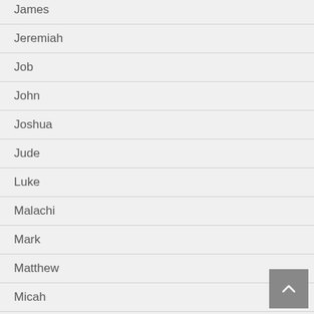James
Jeremiah
Job
John
Joshua
Jude
Luke
Malachi
Mark
Matthew
Micah